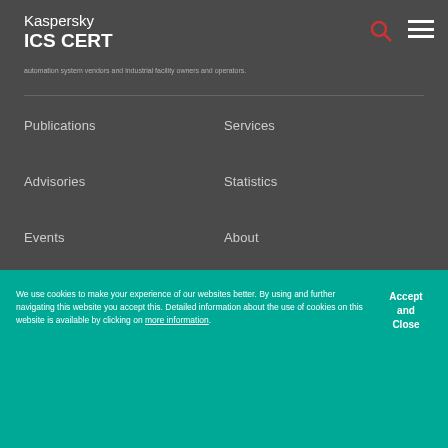Kaspersky ICS CERT
automation system vendors and industrial facility owners and operators.
Publications
Services
Advisories
Statistics
Events
About
We use cookies to make your experience of our websites better. By using and further navigating this website you accept this. Detailed information about the use of cookies on this website is available by clicking on more information.
Accept and Close